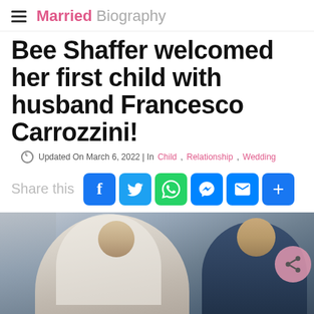Married Biography
Bee Shaffer welcomed her first child with husband Francesco Carrozzini!
Updated On March 6, 2022 | In Child , Relationship , Wedding
Share this
[Figure (photo): Bee Shaffer and Francesco Carrozzini, a couple in wedding attire — bride in white veil and groom in blue suit — photographed outdoors]